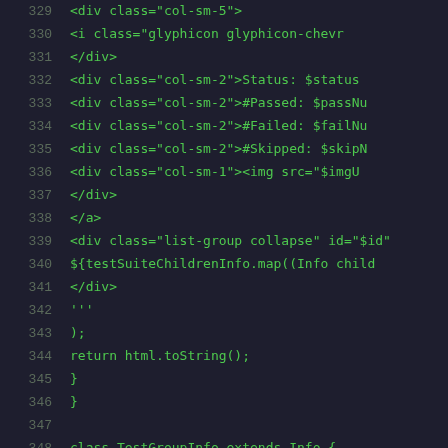[Figure (screenshot): Source code screenshot showing lines 329-350 of a Java/Groovy file with green monospace text on dark background. Code shows HTML template string generation with div elements and a TestGroupInfo class definition.]